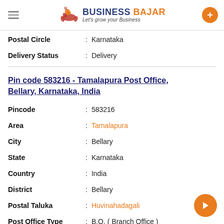BUSINESS BAJAR - Let's grow your Business
Postal Circle : Karnataka
Delivery Status : Delivery
Pin code 583216 - Tamalapura Post Office, Bellary, Karnataka, India
Pincode : 583216
Area : Tamalapura
City : Bellary
State : Karnataka
Country : India
District : Bellary
Postal Taluka : Huvinahadagali
Post Office Type : B.O. ( Branch Office )